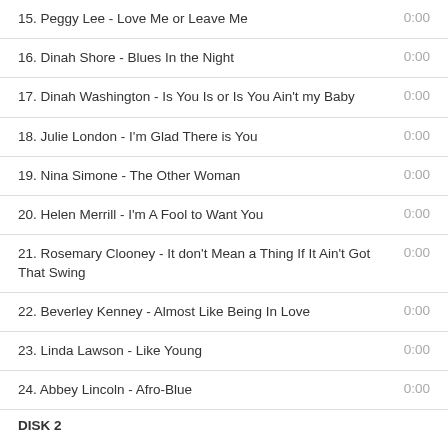15. Peggy Lee - Love Me or Leave Me  0:00
16. Dinah Shore - Blues In the Night  0:00
17. Dinah Washington - Is You Is or Is You Ain't my Baby  0:00
18. Julie London - I'm Glad There is You  0:00
19. Nina Simone - The Other Woman  0:00
20. Helen Merrill - I'm A Fool to Want You  0:00
21. Rosemary Clooney - It don't Mean a Thing If It Ain't Got That Swing  0:00
22. Beverley Kenney - Almost Like Being In Love  0:00
23. Linda Lawson - Like Young  0:00
24. Abbey Lincoln - Afro-Blue  0:00
DISK 2